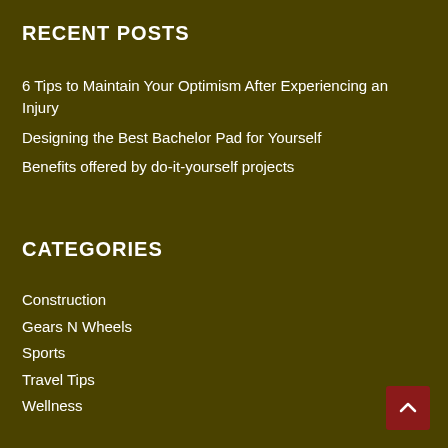RECENT POSTS
6 Tips to Maintain Your Optimism After Experiencing an Injury
Designing the Best Bachelor Pad for Yourself
Benefits offered by do-it-yourself projects
CATEGORIES
Construction
Gears N Wheels
Sports
Travel Tips
Wellness